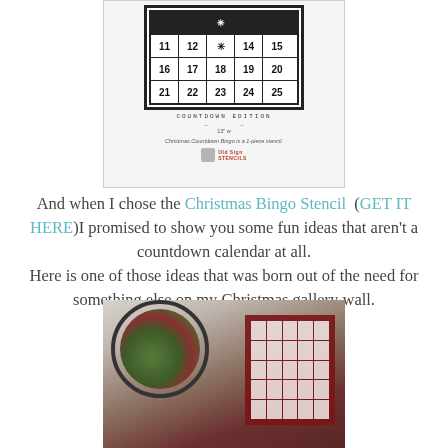[Figure (illustration): Product stencil sheet showing a Christmas Bingo Countdown Edition grid with numbers 11-25 arranged in rows, dimension lines, and product caption reading 'Christmas Countdown Bingo is a 1-piece stencil.' with Old Sign Stencils branding.]
And when I chose the Christmas Bingo Stencil  (GET IT HERE)I promised to show you some fun ideas that aren't a countdown calendar at all.
Here is one of those ideas that was born out of the need for something else on my Christmas gallery wall.
[Figure (photo): Photo of a Christmas gallery wall showing a circular wreath-style hanging with greenery and berries on the left, and a dark red/burgundy bingo board art piece on the right, against a white wall.]